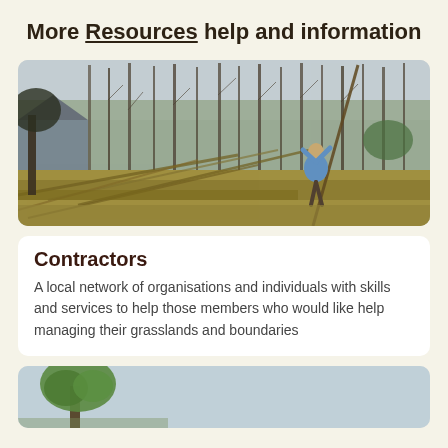More Resources help and information
[Figure (photo): A person working in a woodland setting, handling long branches or poles, with bare winter trees and brush in the background. A building is visible on the left.]
Contractors
A local network of organisations and individuals with skills and services to help those members who would like help managing their grasslands and boundaries
[Figure (photo): Partial view of a tree with green foliage against a pale grey sky, cropped at the bottom of the page.]